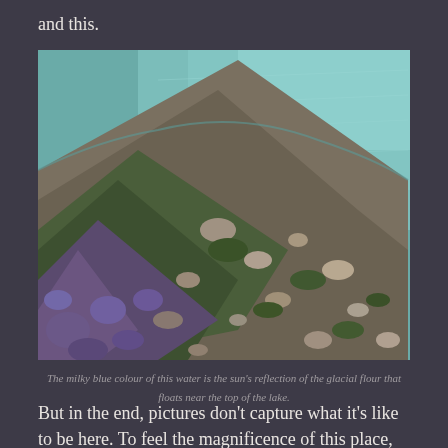and this.
[Figure (photo): Aerial or elevated view of a rocky lakeshore with purple wildflowers and green vegetation, meeting milky blue-green glacial lake water.]
The milky blue colour of this water is the sun's reflection of the glacial flour that floats near the top of the lake.
But in the end, pictures don't capture what it's like to be here. To feel the magnificence of this place,